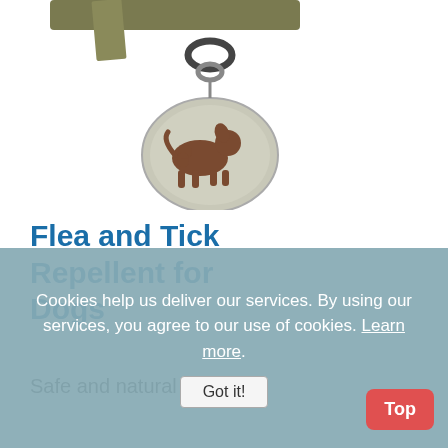[Figure (photo): A dog collar with a round metal tag. The tag shows a silhouette of a large dog and a small dog/cat. The collar is olive/green woven fabric with a black D-ring. Background is white.]
Flea and Tick Repellent for Dogs
Safe and natural flea
Cookies help us deliver our services. By using our services, you agree to our use of cookies. Learn more. Got it!